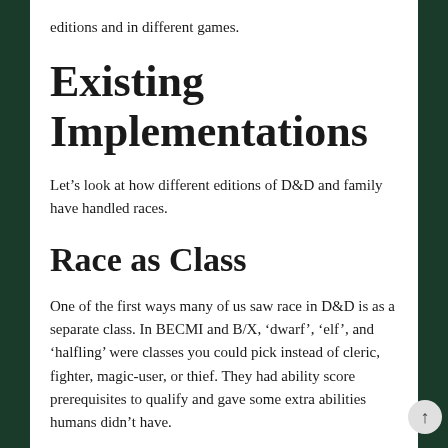editions and in different games.
Existing Implementations
Let's look at how different editions of D&D and family have handled races.
Race as Class
One of the first ways many of us saw race in D&D is as a separate class. In BECMI and B/X, 'dwarf', 'elf', and 'halfling' were classes you could pick instead of cleric, fighter, magic-user, or thief. They had ability score prerequisites to qualify and gave some extra abilities humans didn't have.
They were also limited in maximum level, and